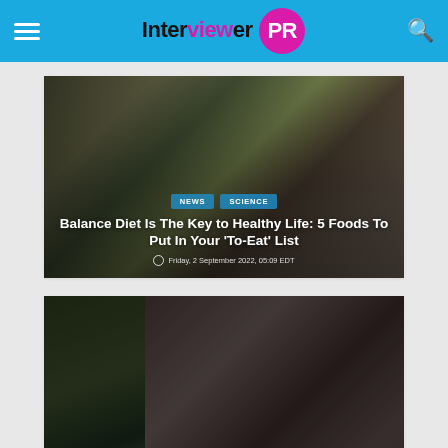Interviewer PR
[Figure (photo): People cooking with vegetables and pots in the background, with article overlay text]
Balance Diet Is The Key to Healthy Life: 5 Foods To Put In Your 'To-Eat' List
Friday, 2 September 2022, 05:09 EDT
[Figure (photo): Portrait photo of Sunny Leone with dark background, with article overlay text]
Sunny Leone coming Film in Malayalam : here is the